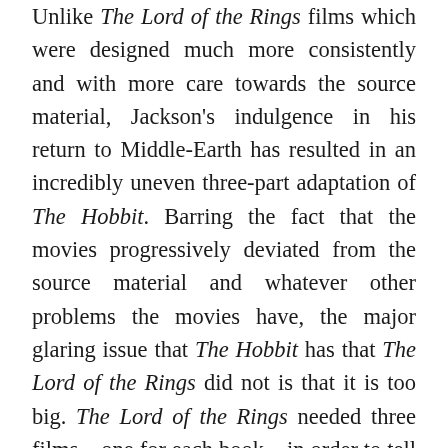Unlike The Lord of the Rings films which were designed much more consistently and with more care towards the source material, Jackson's indulgence in his return to Middle-Earth has resulted in an incredibly uneven three-part adaptation of The Hobbit. Barring the fact that the movies progressively deviated from the source material and whatever other problems the movies have, the major glaring issue that The Hobbit has that The Lord of the Rings did not is that it is too big. The Lord of the Rings needed three films – one for each book – in order to tell a massive story. The Hobbit, on its own terms without any connection to the Appendices, is shorter and smaller in scale than The Lord of the Rings; it did not need three films to tell the story it